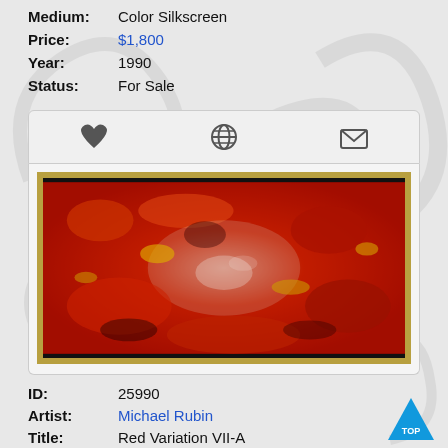Medium: Color Silkscreen
Price: $1,800
Year: 1990
Status: For Sale
[Figure (photo): Abstract painting with predominantly red colors with yellow, black, and white accents, showing textured layered paint in a gold/dark frame. Displayed inside a rounded-corner card panel with a heart icon, globe icon, and email icon toolbar above.]
ID: 25990
Artist: Michael Rubin
Title: Red Variation VII-A